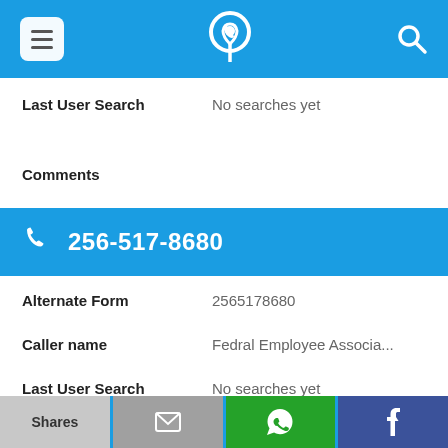App header bar with menu, phone/location icon, and search icon
Last User Search   No searches yet
Comments
256-517-8680
Alternate Form   2565178680
Caller name   Fedral Employee Associa...
Last User Search   No searches yet
Comments
Shares | (email icon) | (WhatsApp icon) | (Facebook icon)